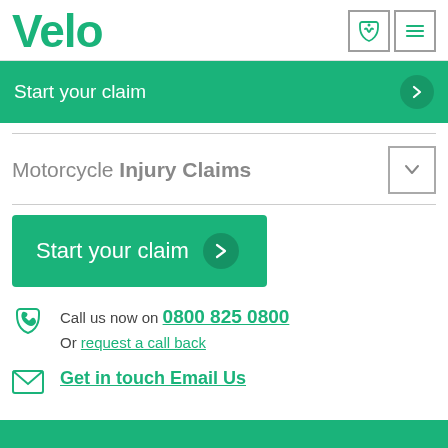Velo
Start your claim
Motorcycle Injury Claims
Start your claim
Call us now on 0800 825 0800
Or request a call back
Get in touch Email Us